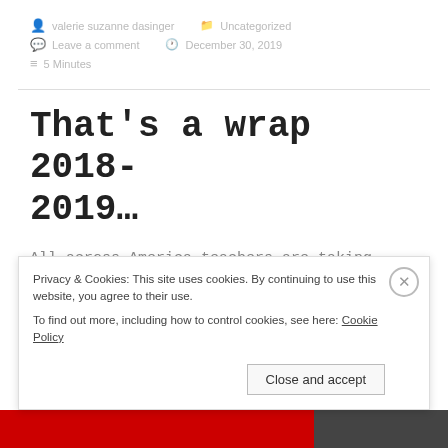valerie suzanne dasinger   Uncategorized
Leave a comment   December 30, 2019
5 Minutes
That’s a wrap 2018-2019…
All across America teachers are taking down, boxing
Privacy & Cookies: This site uses cookies. By continuing to use this website, you agree to their use.
To find out more, including how to control cookies, see here: Cookie Policy
Close and accept